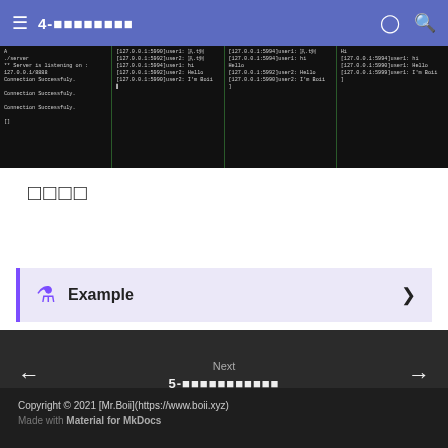4- [title with CJK characters]
[Figure (screenshot): Four-panel terminal screenshot showing server and client console output with connection messages and chat messages between users]
□□□□
Example
Next 5- [title with CJK characters]
Copyright © 2021 [Mr.Boii](https://www.boii.xyz) Made with Material for MkDocs